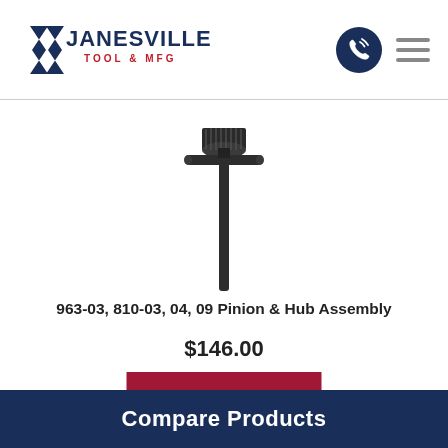[Figure (logo): Janesville Tool & MFG logo with blue chevron/arrow shape and red 'TOOL & MFG' text]
[Figure (photo): Black metal pinion and hub assembly tool — a cylindrical knurled head on top with a cross-shaft and long thin pin extending downward]
963-03, 810-03, 04, 09 Pinion & Hub Assembly
$146.00
View Product
Compare Products